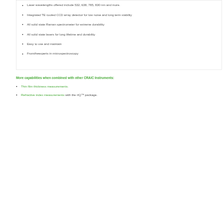Laser wavelengths offered include 532, 638, 785, 830 nm and more.
Integrated TE cooled CCD array detector for low noise and long term stability
All solid state Raman spectrometer for extreme durability
All solid state lasers for long lifetime and durability
Easy to use and maintain
From the experts in microspectroscopy
More capabilities when combined with other CRAIC Instruments:
Thin film thickness measurements.
Refractive index measurements with the rIQ™ package.